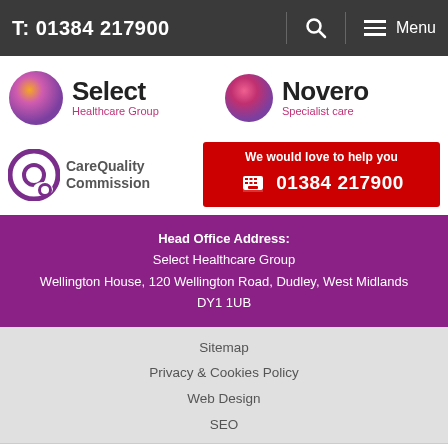T: 01384 217900  🔍  ≡ Menu
[Figure (logo): Select Healthcare Group logo with purple sphere]
[Figure (logo): Novero Specialist care logo with pink/purple sphere]
[Figure (logo): Care Quality Commission logo]
We would love to help you 01384 217900
Head Office Address:
Select Healthcare Group
Wellington House, 120 Wellington Road, Dudley, West Midlands
DY1 1UB
Sitemap
Privacy & Cookies Policy
Web Design
SEO
Select Healthcare Group 2022 All Rights Reserved